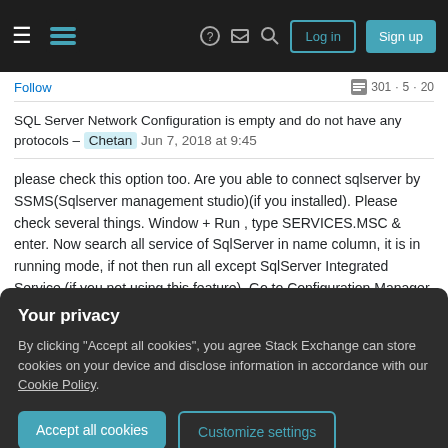Stack Exchange navigation bar with Log in and Sign up buttons
Follow
SQL Server Network Configuration is empty and do not have any protocols – Chetan  Jun 7, 2018 at 9:45
please check this option too. Are you able to connect sqlserver by SSMS(Sqlserver management studio)(if you installed). Please check several things. Window + Run , type SERVICES.MSC & enter. Now search all service of SqlServer in name column, it is in running mode, if not then run all except SqlServer Integrated Service (if you not using this feature). Go to Configuration Manager, there is sqlServerExpress. --go to sqlserver 2008 option , expand there is & enable first
Your privacy
By clicking "Accept all cookies", you agree Stack Exchange can store cookies on your device and disclose information in accordance with our Cookie Policy.
Accept all cookies
Customize settings
please check this option too.